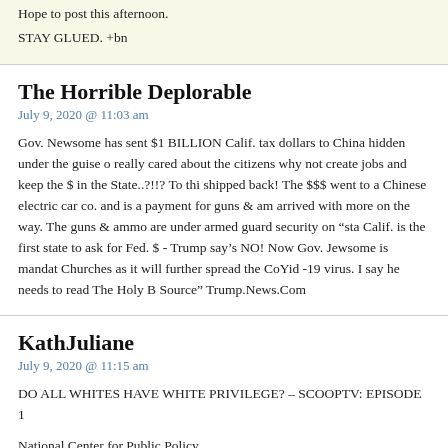Hope to post this afternoon.
STAY GLUED. +bn
The Horrible Deplorable
July 9, 2020 @ 11:03 am
Gov. Newsome has sent $1 BILLION Calif. tax dollars to China hidden under the guise of really cared about the citizens why not create jobs and keep the $ in the State..?!!? To thi shipped back! The $$$ went to a Chinese electric car co. and is a payment for guns & am arrived with more on the way. The guns & ammo are under armed guard security on "sta Calif. is the first state to ask for Fed. $ - Trump say's NO! Now Gov. Jewsome is mandat Churches as it will further spread the CoYid -19 virus. I say he needs to read The Holy B Source" Trump.News.Com
KathJuliane
July 9, 2020 @ 11:15 am
DO ALL WHITES HAVE WHITE PRIVILEGE? – SCOOPTV: EPISODE 1
National Center for Public Policy
Can white Americans ever truly understand the pain of discrimination blacks do? Episod question.